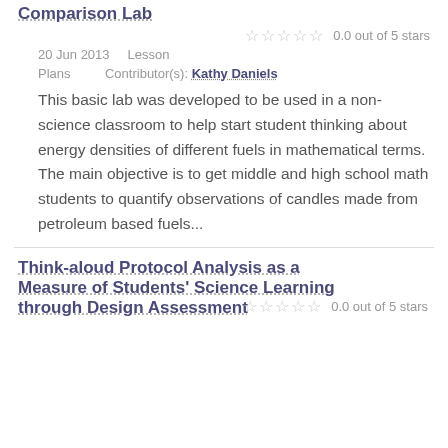Comparison Lab
0.0 out of 5 stars
20 Jun 2013    Lesson Plans    Contributor(s): Kathy Daniels
This basic lab was developed to be used in a non-science classroom to help start student thinking about energy densities of different fuels in mathematical terms. The main objective is to get middle and high school math students to quantify observations of candles made from petroleum based fuels...
Think-aloud Protocol Analysis as a Measure of Students' Science Learning through Design Assessment
0.0 out of 5 stars